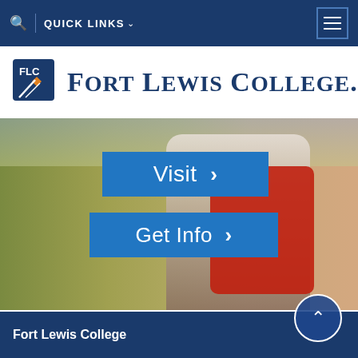QUICK LINKS
[Figure (logo): Fort Lewis College logo with FLC emblem and wordmark 'FORT LEWIS COLLEGE.']
[Figure (photo): Hero image showing a student in a field with red jacket over shoulder. Two blue call-to-action buttons: 'Visit >' and 'Get Info >']
Fort Lewis College